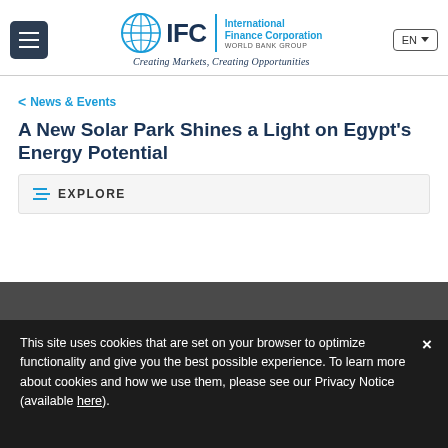IFC | International Finance Corporation | WORLD BANK GROUP | Creating Markets, Creating Opportunities
< News & Events
A New Solar Park Shines a Light on Egypt's Energy Potential
☰ EXPLORE
This site uses cookies that are set on your browser to optimize functionality and give you the best possible experience. To learn more about cookies and how we use them, please see our Privacy Notice (available here).